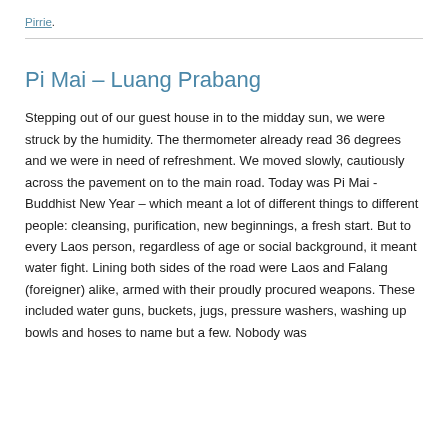Pirrie.
Pi Mai – Luang Prabang
Stepping out of our guest house in to the midday sun, we were struck by the humidity. The thermometer already read 36 degrees and we were in need of refreshment. We moved slowly, cautiously across the pavement on to the main road. Today was Pi Mai -Buddhist New Year – which meant a lot of different things to different people: cleansing, purification, new beginnings, a fresh start. But to every Laos person, regardless of age or social background, it meant water fight. Lining both sides of the road were Laos and Falang (foreigner) alike, armed with their proudly procured weapons. These included water guns, buckets, jugs, pressure washers, washing up bowls and hoses to name but a few. Nobody was